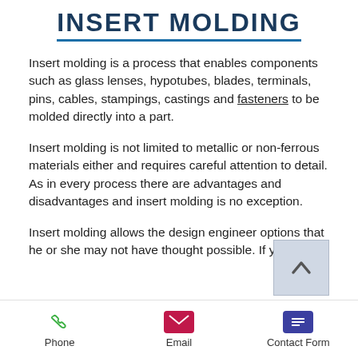INSERT MOLDING
Insert molding is a process that enables components such as glass lenses, hypotubes, blades, terminals, pins, cables, stampings, castings and fasteners to be molded directly into a part.
Insert molding is not limited to metallic or non-ferrous materials either and requires careful attention to detail. As in every process there are advantages and disadvantages and insert molding is no exception.
Insert molding allows the design engineer options that he or she may not have thought possible. If you are
Phone   Email   Contact Form